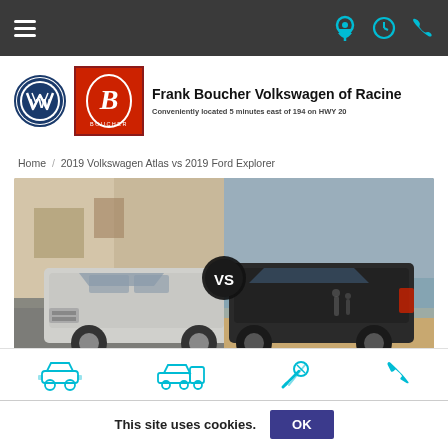Navigation bar with hamburger menu and icons
[Figure (logo): Frank Boucher Volkswagen of Racine dealership logo — VW circular logo, Boucher red square logo with B monogram, dealer name text]
Frank Boucher Volkswagen of Racine
Conveniently located 5 minutes east of 194 on HWY 20
Home / 2019 Volkswagen Atlas vs 2019 Ford Explorer
[Figure (photo): Side-by-side comparison photo of 2019 Volkswagen Atlas (silver SUV on left) versus 2019 Ford Explorer (dark SUV on right) with VS badge in center]
[Figure (infographic): Bottom navigation icons: new cars, used cars, service, phone]
This site uses cookies.